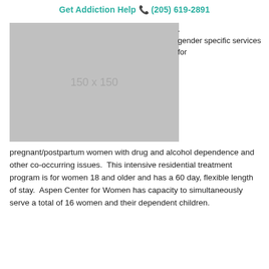Get Addiction Help ☎ (205) 619-2891
[Figure (photo): Placeholder image 150 x 150]
. gender specific services for
pregnant/postpartum women with drug and alcohol dependence and other co-occurring issues.  This intensive residential treatment program is for women 18 and older and has a 60 day, flexible length of stay.  Aspen Center for Women has capacity to simultaneously serve a total of 16 women and their dependent children.